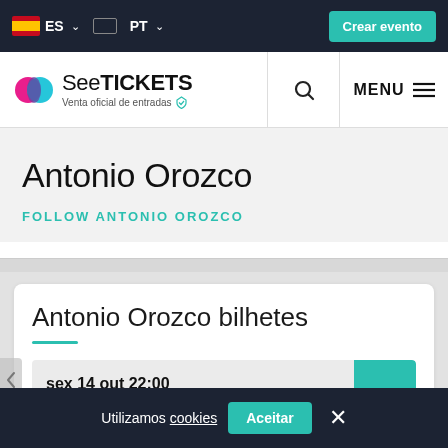ES PT | Crear evento
[Figure (logo): SeeTickets logo with tagline 'Venta oficial de entradas']
Antonio Orozco
FOLLOW ANTONIO OROZCO
Antonio Orozco bilhetes
sex 14 out 22:00
Utilizamos cookies | Aceitar | ×